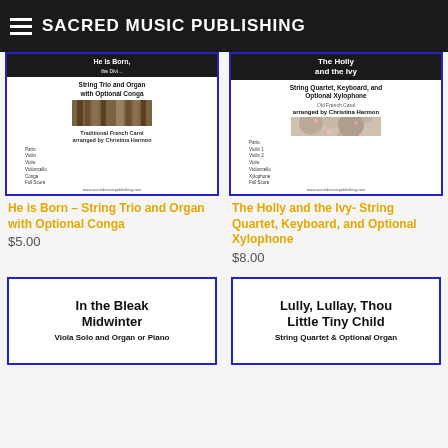SACRED MUSIC PUBLISHING
[Figure (other): Sheet music cover for 'He is Born – String Trio and Organ with Optional Conga'. Shows dark header, organ pipe photo, Traditional French Carol arranged by Christina Harmon.]
He is Born – String Trio and Organ with Optional Conga
$5.00
[Figure (other): Sheet music cover for 'The Holly and the Ivy – String Quartet, Keyboard, and Optional Xylophone'. Shows dark header, holly/ivy photo, Old French Carol arranged by Christina Harmon.]
The Holly and the Ivy- String Quartet, Keyboard, and Optional Xylophone
$8.00
[Figure (other): Sheet music cover for 'In the Bleak Midwinter – Viola Solo and Organ or Piano']
[Figure (other): Sheet music cover for 'Lully, Lullay, Thou Little Tiny Child – String Quartet & Optional Organ']